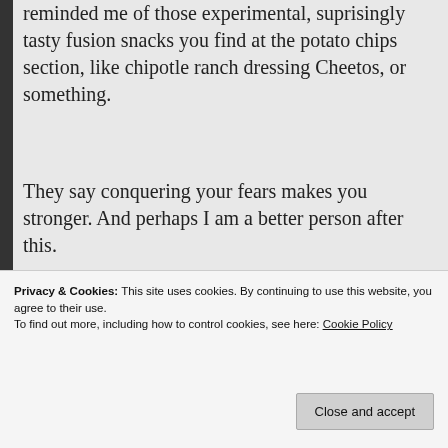reminded me of those experimental, suprisingly tasty fusion snacks you find at the potato chips section, like chipotle ranch dressing Cheetos, or something.
They say conquering your fears makes you stronger. And perhaps I am a better person after this.
But I STILL draw the line at mayonnaise in my booze. Cheers!
[Figure (photo): Photo of drinks/glasses on a surface, partially visible at bottom of page]
Privacy & Cookies: This site uses cookies. By continuing to use this website, you agree to their use.
To find out more, including how to control cookies, see here: Cookie Policy
Close and accept